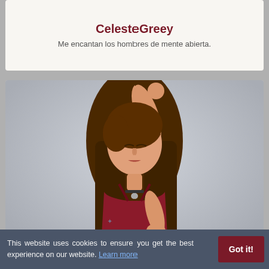CelesteGreey
Me encantan los hombres de mente abierta.
[Figure (photo): Young woman with long brown hair wearing a red velvet top, arm raised over head, eyes closed, posed against a grey background]
LiaJones
Someone who manages to satisfy me, that seduces me as in a
This website uses cookies to ensure you get the best experience on our website. Learn more
Got it!